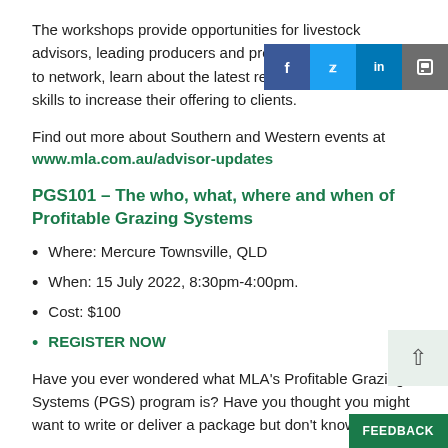The workshops provide opportunities for livestock advisors, leading producers and professional consultants to network, learn about the latest red meat R&D and gain skills to increase their offering to clients.
Find out more about Southern and Western events at
www.mla.com.au/advisor-updates
PGS101 – The who, what, where and when of Profitable Grazing Systems
Where: Mercure Townsville, QLD
When: 15 July 2022, 8:30pm-4:00pm.
Cost: $100
REGISTER NOW
Have you ever wondered what MLA's Profitable Grazing Systems (PGS) program is? Have you thought you might want to write or deliver a package but don't know where